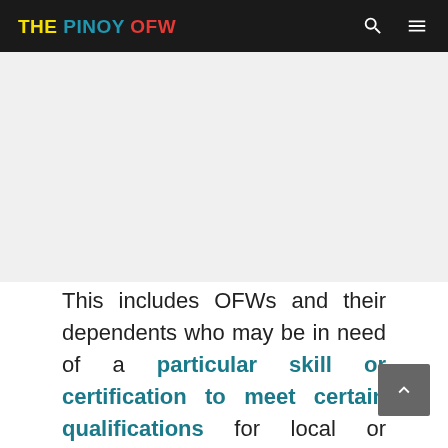THE PINOY OFW
[Figure (other): Advertisement/blank area below header]
This includes OFWs and their dependents who may be in need of a particular skill or certification to meet certain qualifications for local or overseas employment. In